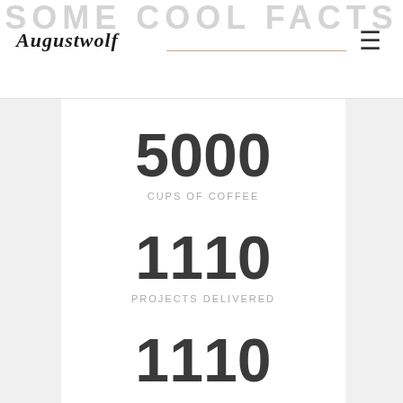SOME COOL FACTS
Augustwolf
5000
CUPS OF COFFEE
1110
PROJECTS DELIVERED
1110